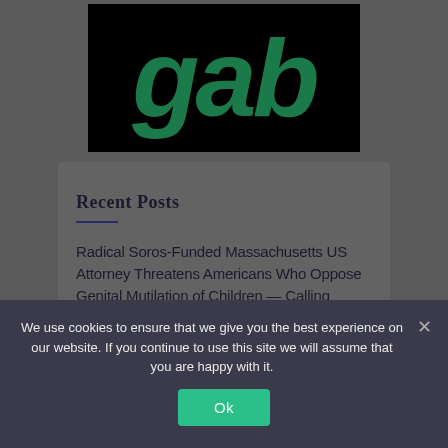[Figure (logo): Gab social network logo — lowercase 'gab' in dark green bold italic text on a black background]
Recent Posts
Radical Soros-Funded Massachusetts US Attorney Threatens Americans Who Oppose Genital Mutilation of Children — Calling Opposition a ‘Hate Crime’
We use cookies to ensure that we give you the best experience on our website. If you continue to use this site we will assume that you are happy with it.